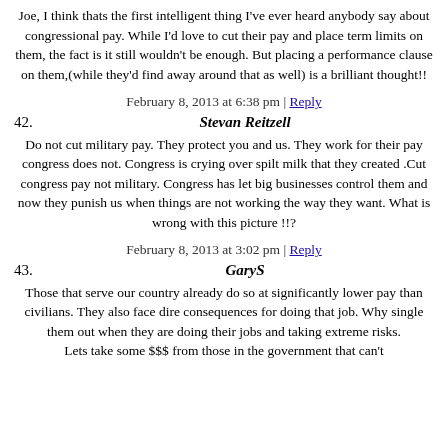Joe, I think thats the first intelligent thing I've ever heard anybody say about congressional pay. While I'd love to cut their pay and place term limits on them, the fact is it still wouldn't be enough. But placing a performance clause on them,(while they'd find away around that as well) is a brilliant thought!!
February 8, 2013 at 6:38 pm | Reply
42. Stevan Reitzell
Do not cut military pay. They protect you and us. They work for their pay congress does not. Congress is crying over spilt milk that they created .Cut congress pay not military. Congress has let big businesses control them and now they punish us when things are not working the way they want. What is wrong with this picture !!?
February 8, 2013 at 3:02 pm | Reply
43. GaryS
Those that serve our country already do so at significantly lower pay than civilians. They also face dire consequences for doing that job. Why single them out when they are doing their jobs and taking extreme risks. Lets take some $$$ from those in the government that can't